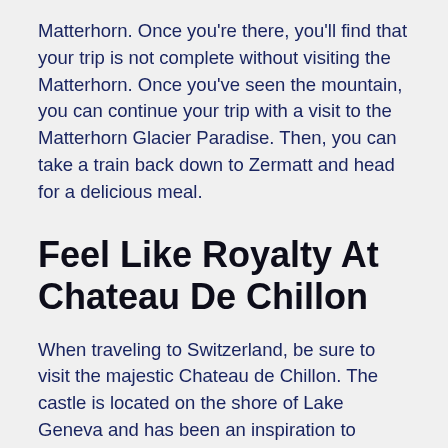Matterhorn. Once you're there, you'll find that your trip is not complete without visiting the Matterhorn. Once you've seen the mountain, you can continue your trip with a visit to the Matterhorn Glacier Paradise. Then, you can take a train back down to Zermatt and head for a delicious meal.
Feel Like Royalty At Chateau De Chillon
When traveling to Switzerland, be sure to visit the majestic Chateau de Chillon. The castle is located on the shore of Lake Geneva and has been an inspiration to artists for centuries. Built in the 12th century, this beautiful and lavish castle has nearly 25 buildings and